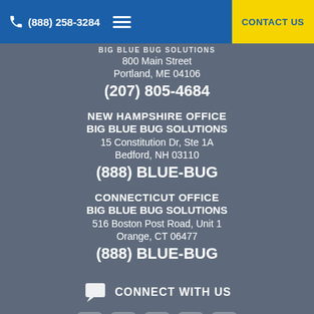(888) 258-3284   CONTACT US
BIG BLUE BUG SOLUTIONS
800 Main Street
Portland, ME 04106
(207) 805-4684
NEW HAMPSHIRE OFFICE
BIG BLUE BUG SOLUTIONS
15 Constitution Dr, Ste 1A
Bedford, NH 03110
(888) BLUE-BUG
CONNECTICUT OFFICE
BIG BLUE BUG SOLUTIONS
516 Boston Post Road, Unit 1
Orange, CT 06477
(888) BLUE-BUG
CONNECT WITH US